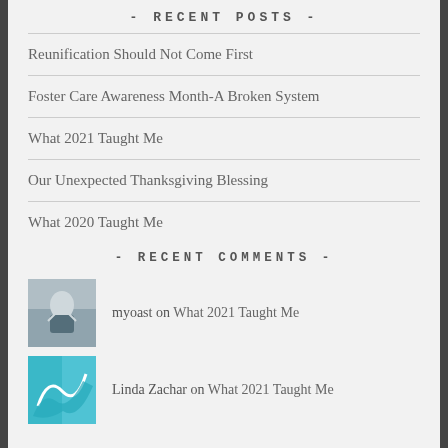- RECENT POSTS -
Reunification Should Not Come First
Foster Care Awareness Month-A Broken System
What 2021 Taught Me
Our Unexpected Thanksgiving Blessing
What 2020 Taught Me
- RECENT COMMENTS -
myoast on What 2021 Taught Me
Linda Zachar on What 2021 Taught Me